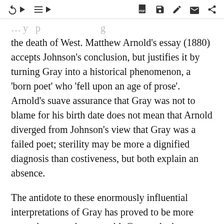[toolbar with navigation and action icons]
the death of West. Matthew Arnold's essay (1880) accepts Johnson's conclusion, but justifies it by turning Gray into a historical phenomenon, a 'born poet' who 'fell upon an age of prose'. Arnold's suave assurance that Gray was not to blame for his birth date does not mean that Arnold diverged from Johnson's view that Gray was a failed poet; sterility may be more a dignified diagnosis than costiveness, but both explain an absence.
The antidote to these enormously influential interpretations of Gray has proved to be more extensive acquaintance with Gray as he is revealed in his letters. Unhappily, Mason falsified many of the letters he printed, and subsequently destroyed